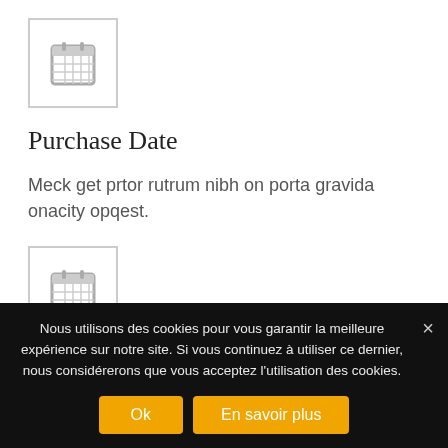[Figure (illustration): Calendar icon in a square box with grey border]
Purchase Date
Meck get prtor rutrum nibh on porta gravida onacity opqest.
[Figure (illustration): Calendar icon in a square box with grey border]
URL
Nous utilisons des cookies pour vous garantir la meilleure expérience sur notre site. Si vous continuez à utiliser ce dernier, nous considérerons que vous acceptez l'utilisation des cookies.
Ok
En savoir plus